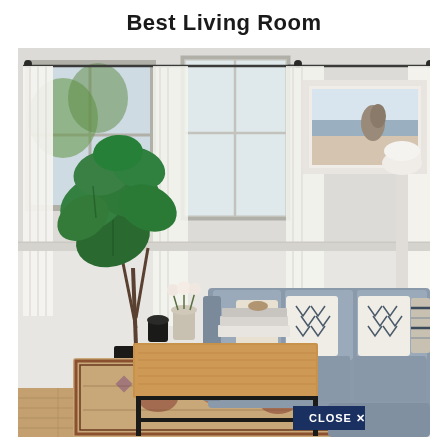Best Living Room
[Figure (photo): Modern living room interior with a gray sectional sofa decorated with patterned throw pillows, a wooden coffee table with black metal frame, a large fiddle leaf fig plant, white sheer curtains on windows, a patterned area rug, and a framed coastal photograph on the wall. A 'CLOSE X' button appears at the bottom right corner of the image.]